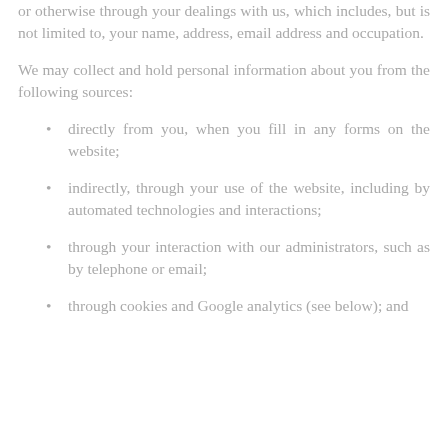or otherwise through your dealings with us, which includes, but is not limited to, your name, address, email address and occupation.
We may collect and hold personal information about you from the following sources:
directly from you, when you fill in any forms on the website;
indirectly, through your use of the website, including by automated technologies and interactions;
through your interaction with our administrators, such as by telephone or email;
through cookies and Google analytics (see below); and